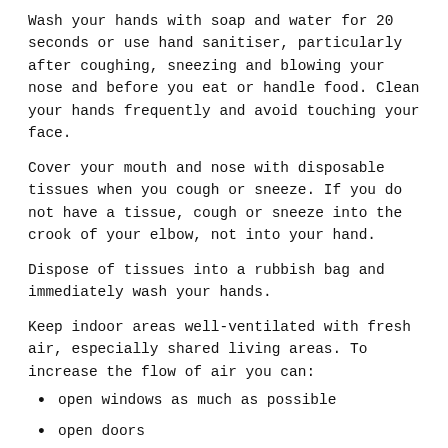Wash your hands with soap and water for 20 seconds or use hand sanitiser, particularly after coughing, sneezing and blowing your nose and before you eat or handle food. Clean your hands frequently and avoid touching your face.
Cover your mouth and nose with disposable tissues when you cough or sneeze. If you do not have a tissue, cough or sneeze into the crook of your elbow, not into your hand.
Dispose of tissues into a rubbish bag and immediately wash your hands.
Keep indoor areas well-ventilated with fresh air, especially shared living areas. To increase the flow of air you can:
open windows as much as possible
open doors
make sure that any vents are open and airflow is not blocked